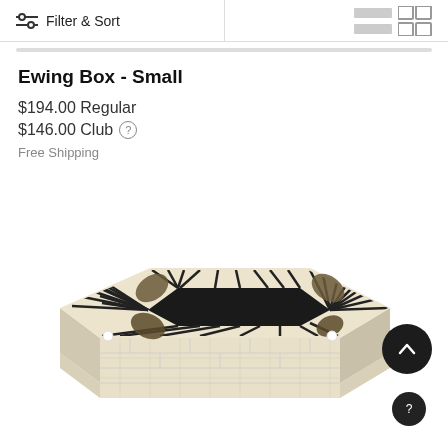Filter & Sort
Ewing Box - Small
$194.00 Regular
$146.00 Club
Free Shipping
[Figure (photo): A decorative box with a black rectangular opening in the center, surrounded by a striped black-and-white pattern radiating outward with organic/natural elements at the corners. The box has a cream/ivory brick-like exterior.]